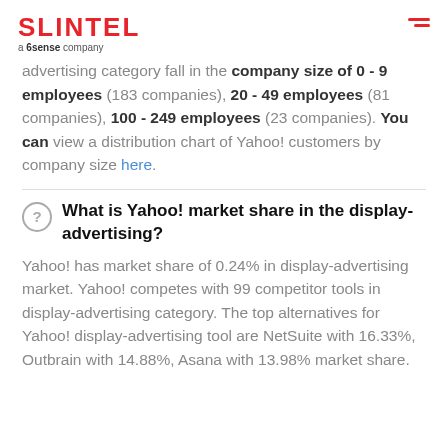SLINTEL a 6sense company
advertising category fall in the company size of 0 - 9 employees (183 companies), 20 - 49 employees (81 companies), 100 - 249 employees (23 companies). You can view a distribution chart of Yahoo! customers by company size here.
What is Yahoo! market share in the display-advertising?
Yahoo! has market share of 0.24% in display-advertising market. Yahoo! competes with 99 competitor tools in display-advertising category. The top alternatives for Yahoo! display-advertising tool are NetSuite with 16.33%, Outbrain with 14.88%, Asana with 13.98% market share.